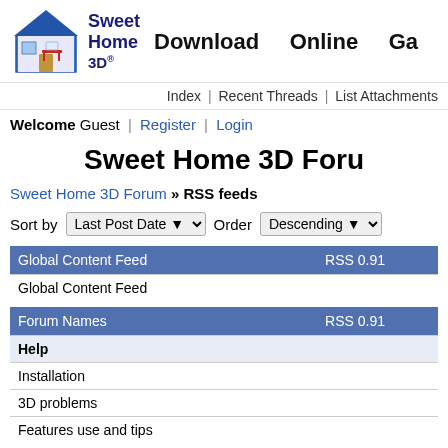Sweet Home 3D — Download  Online  Ga
Index | Recent Threads | List Attachments
Welcome Guest | Register | Login
Sweet Home 3D Foru
Sweet Home 3D Forum » RSS feeds
Sort by Last Post Date  Order Descending
| Global Content Feed | RSS 0.91 |  |
| --- | --- | --- |
| Global Content Feed |  |  |
| Forum Names | RSS 0.91 |  |
| --- | --- | --- |
| Help |  |  |
| Installation |  |  |
| 3D problems |  |  |
| Features use and tips |  |  |